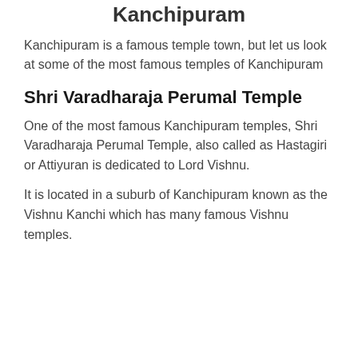Kanchipuram
Kanchipuram is a famous temple town, but let us look at some of the most famous temples of Kanchipuram
Shri Varadharaja Perumal Temple
One of the most famous Kanchipuram temples, Shri Varadharaja Perumal Temple, also called as Hastagiri or Attiyuran is dedicated to Lord Vishnu.
It is located in a suburb of Kanchipuram known as the Vishnu Kanchi which has many famous Vishnu temples.